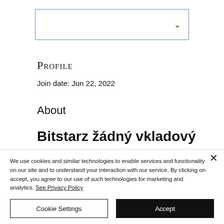[Figure (screenshot): Dropdown selector box with a chevron/arrow on the right side]
Profile
Join date: Jun 22, 2022
About
Bitstarz žádný vkladový
We use cookies and similar technologies to enable services and functionality on our site and to understand your interaction with our service. By clicking on accept, you agree to our use of such technologies for marketing and analytics. See Privacy Policy
Cookie Settings
Accept